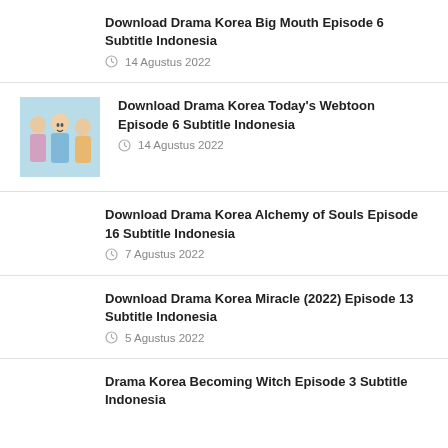Download Drama Korea Big Mouth Episode 6 Subtitle Indonesia
14 Agustus 2022
[Figure (photo): Thumbnail image of Today's Webtoon drama cast]
Download Drama Korea Today's Webtoon Episode 6 Subtitle Indonesia
14 Agustus 2022
Download Drama Korea Alchemy of Souls Episode 16 Subtitle Indonesia
7 Agustus 2022
Download Drama Korea Miracle (2022) Episode 13 Subtitle Indonesia
5 Agustus 2022
Drama Korea Becoming Witch Episode 3 Subtitle Indonesia